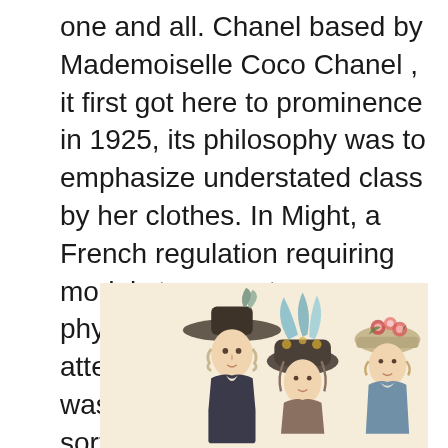one and all. Chanel based by Mademoiselle Coco Chanel , it first got here to prominence in 1925, its philosophy was to emphasize understated class by her clothes. In Might, a French regulation requiring models to current a physician's certificate attesting to their health and was launched to attempt to sort out the problem of the industry selling thinness and unattainable beauty beliefs.
[Figure (illustration): Historical fashion illustration showing two figures in 18th century style: a man wearing a wide-brimmed hat on the left, and a woman with an elaborate feathered/floral hat on the right, rendered in a period engraving style on a cream background.]